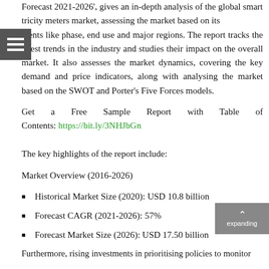Forecast 2021-2026', gives an in-depth analysis of the global smart electricity meters market, assessing the market based on its segments like phase, end use and major regions. The report tracks the latest trends in the industry and studies their impact on the overall market. It also assesses the market dynamics, covering the key demand and price indicators, along with analysing the market based on the SWOT and Porter's Five Forces models.
Get a Free Sample Report with Table of Contents: https://bit.ly/3NHJbGn
The key highlights of the report include:
Market Overview (2016-2026)
Historical Market Size (2020): USD 10.8 billion
Forecast CAGR (2021-2026): 57%
Forecast Market Size (2026): USD 17.50 billion
The Asia Pacific is expected to hold a substantial share in the global smart electricity meters market due to the increased deployment of smart power metres in the region as a result of expanding industrialisation and urbanisation can be linked to this increase. Furthermore, rising investments in prioritising policies to monitor